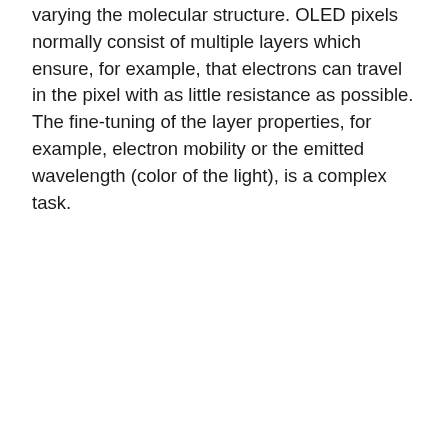varying the molecular structure. OLED pixels normally consist of multiple layers which ensure, for example, that electrons can travel in the pixel with as little resistance as possible. The fine-tuning of the layer properties, for example, electron mobility or the emitted wavelength (color of the light), is a complex task.